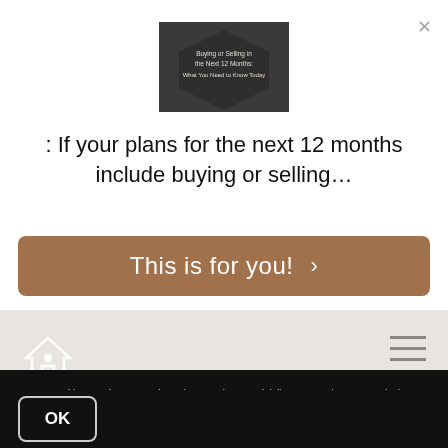[Figure (screenshot): Thumbnail image of a guide titled 'Buying or Selling in the Next 12 Months: What You Need to Know Today' shown on a dark hexagonal background]
: If your plans for the next 12 months include buying or selling…
This is for you! >
[Figure (screenshot): Partially visible real estate website background with a house outline logo on the left and a hamburger menu icon on the right]
We use cookies to enhance your browsing experience and deliver our services. By continuing to visit this site, you agree to our use of cookies. More Info
OK